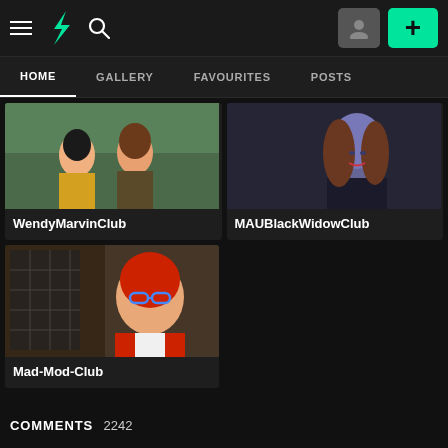DeviantArt navigation bar with HOME, GALLERY, FAVOURITES, POSTS tabs
WendyMarvinClub
MAUBlackWidowClub
Mad-Mod-Club
COMMENTS 2242